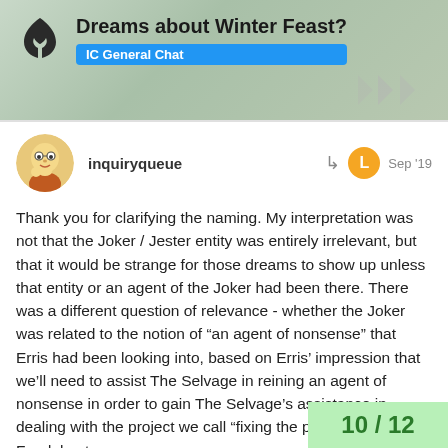Dreams about Winter Feast? IC General Chat
inquiryqueue  Sep '19
Thank you for clarifying the naming. My interpretation was not that the Joker / Jester entity was entirely irrelevant, but that it would be strange for those dreams to show up unless that entity or an agent of the Joker had been there. There was a different question of relevance - whether the Joker was related to the notion of “an agent of nonsense” that Erris had been looking into, based on Erris’ impression that we’ll need to assist The Selvage in reining an agent of nonsense in order to gain The Selvage’s assistance in dealing with the project we call “fixing the pattern” based on Fandalee terms.
It could make sense for these personas - Greed, Lust, etc. - to be related to the Locus of Compulsion if w impulses that individuals might feel compe
10 / 12